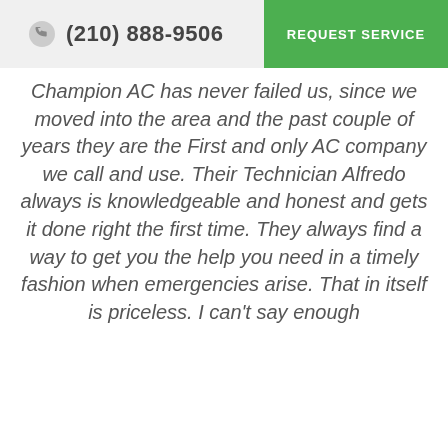(210) 888-9506  REQUEST SERVICE
Champion AC has never failed us, since we moved into the area and the past couple of years they are the First and only AC company we call and use. Their Technician Alfredo always is knowledgeable and honest and gets it done right the first time. They always find a way to get you the help you need in a timely fashion when emergencies arise. That in itself is priceless. I can't say enough